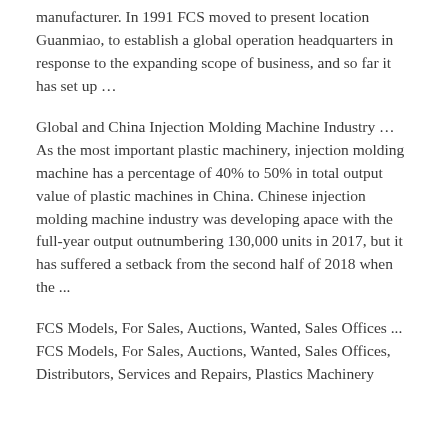manufacturer. In 1991 FCS moved to present location Guanmiao, to establish a global operation headquarters in response to the expanding scope of business, and so far it has set up …
Global and China Injection Molding Machine Industry … As the most important plastic machinery, injection molding machine has a percentage of 40% to 50% in total output value of plastic machines in China. Chinese injection molding machine industry was developing apace with the full-year output outnumbering 130,000 units in 2017, but it has suffered a setback from the second half of 2018 when the ...
FCS Models, For Sales, Auctions, Wanted, Sales Offices ... FCS Models, For Sales, Auctions, Wanted, Sales Offices, Distributors, Services and Repairs, Plastics Machinery